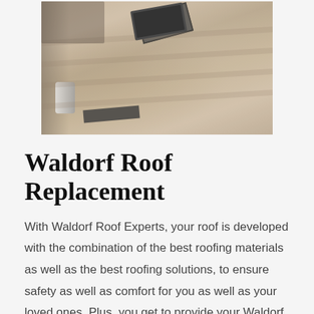[Figure (photo): Aerial/close-up photo of a roof under construction or being replaced, showing asphalt shingles in tan/beige tones, a dark skylight or vent opening, roofing tools including a white cylindrical container, and dark roofing materials on the surface.]
Waldorf Roof Replacement
With Waldorf Roof Experts, your roof is developed with the combination of the best roofing materials as well as the best roofing solutions, to ensure safety as well as comfort for you as well as your loved ones. Plus, you get to provide your Waldorf